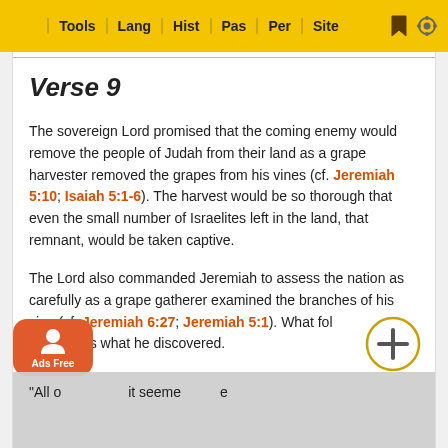Tools | Lang | Hist | Pas | Per | Site
Verse 9
The sovereign Lord promised that the coming enemy would remove the people of Judah from their land as a grape harvester removed the grapes from his vines (cf. Jeremiah 5:10; Isaiah 5:1-6). The harvest would be so thorough that even the small number of Israelites left in the land, that remnant, would be taken captive.
The Lord also commanded Jeremiah to assess the nation as carefully as a grape gatherer examined the branches of his vine (cf. Jeremiah 6:27; Jeremiah 5:1). What followed in this pericope is what he discovered.
"All of ... it seemed ... e